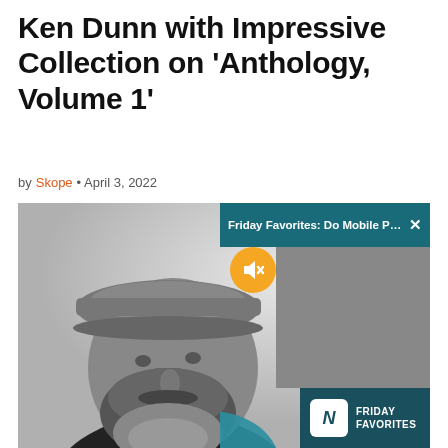Ken Dunn with Impressive Collection on 'Anthology, Volume 1'
by Skope • April 3, 2022
[Figure (photo): Black and white photograph of a middle-aged bearded man wearing a flat cap, looking slightly to the side against a blurred background. Overlaid with a video popup reading 'Friday Favorites: Do Mobile Phones ...' with an X close button, a muted speaker icon button, a thumbnail of a phone on fabric, a teal wave graphic, and a Friday Favorites logo banner.]